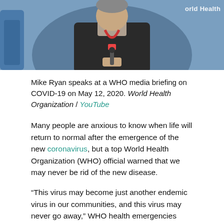[Figure (photo): Man in dark jacket with red lanyard speaking at a WHO media briefing, with 'World Health' watermark visible in top right corner]
Mike Ryan speaks at a WHO media briefing on COVID-19 on May 12, 2020. World Health Organization / YouTube
Many people are anxious to know when life will return to normal after the emergence of the new coronavirus, but a top World Health Organization (WHO) official warned that we may never be rid of the new disease.
“This virus may become just another endemic virus in our communities, and this virus may never go away,” WHO health emergencies program leader Mike Ryan said at a Wednesday media briefing. The